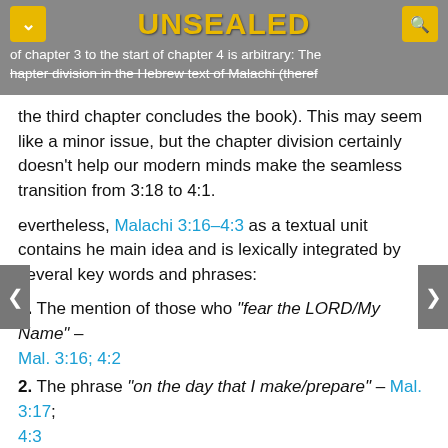of chapter 3 to the start of chapter 4 is arbitrary: The chapter division in the Hebrew text of Malachi (theref
the third chapter concludes the book). This may seem like a minor issue, but the chapter division certainly doesn't help our modern minds make the seamless transition from 3:18 to 4:1.
Nevertheless, Malachi 3:16–4:3 as a textual unit contains the main idea and is lexically integrated by several key words and phrases:
1. The mention of those who "fear the LORD/My Name" – Mal. 3:16; 4:2
2. The phrase "on the day that I make/prepare" – Mal. 3:17; 4:3
3. The separation of "the righteous" and "the wicked" – Mal. 3:18; 4:2-3